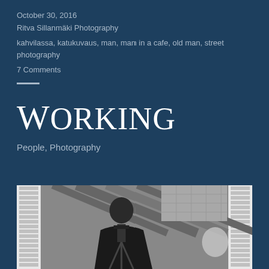October 30, 2016
Ritva Sillanmäki Photography
kahvilassa, katukuvaus, man, man in a cafe, old man, street photography
7 Comments
Working
People, Photography
[Figure (photo): Black and white street photography image showing a man in a cafe, photographed from outside through a window, with architectural elements visible including ceiling beams and shutters on the sides]